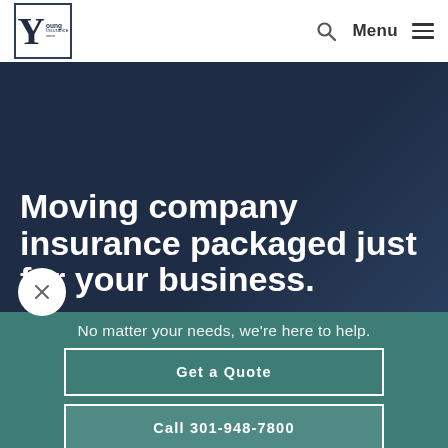Young Insurance — Menu
Moving company insurance packaged just for your business.
No matter your needs, we're here to help.
Get a Quote
Call 301-948-7800